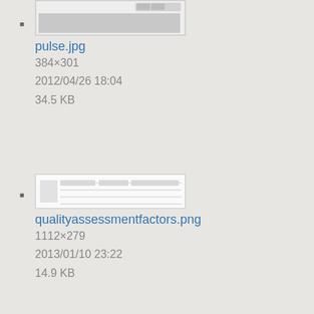[Figure (screenshot): Thumbnail of pulse.jpg file]
pulse.jpg
384×301
2012/04/26 18:04
34.5 KB
[Figure (screenshot): Thumbnail of qualityassessmentfactors.png file]
qualityassessmentfactors.png
1112×279
2013/01/10 23:22
14.9 KB
[Figure (screenshot): Thumbnail of raw_connection_search.png file showing a form dialog]
raw_connection_search.png
408×368
2014/04/16 19:59
13.4 KB
[Figure (screenshot): Thumbnail of recentchangesbutton.png]
recentchangesbutton.png
380×317